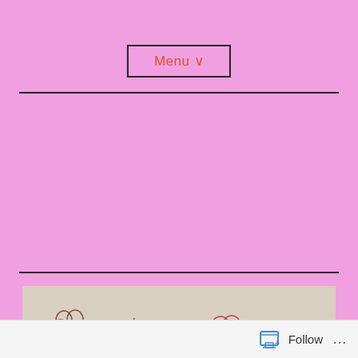Menu ∨
Month: July 2020
[Figure (illustration): Hand-drawn pencil sketch on beige paper showing cartoon-style cloud/flower shapes and Mickey Mouse-like characters with flowers and small mushroom figures]
Follow ...